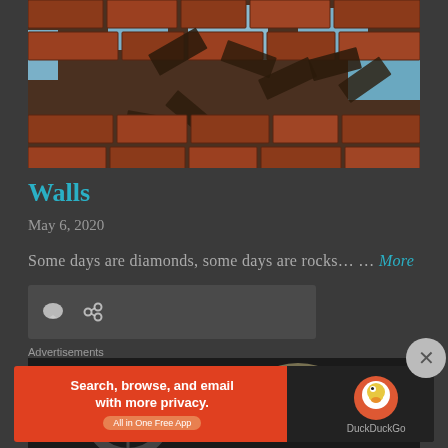[Figure (photo): Crumbling brick wall with pieces falling apart, dark brownish-red bricks against a blue sky background]
Walls
May 6, 2020
Some days are diamonds, some days are rocks… … More
[Figure (other): Meta bar with comment icon and link icon on dark background]
[Figure (photo): Dark image showing a wheel and some light-colored object against dark background]
Advertisements
[Figure (other): DuckDuckGo advertisement banner: Search, browse, and email with more privacy. All in One Free App]